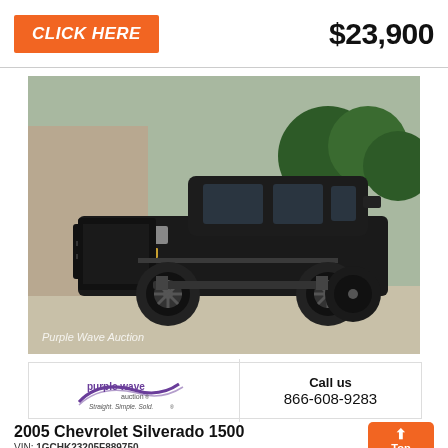CLICK HERE
$23,900
[Figure (photo): Black 2005 Chevrolet Silverado 1500 pickup truck with lift kit and black wheels, photographed outdoors. Watermark reads 'Purple Wave Auction'.]
[Figure (logo): Purple Wave Auction logo with purple swoosh and text 'purple wave auction® Straight. Simple. Sold.®']
Call us 866-608-9283
2005 Chevrolet Silverado 1500
VIN: 1GCHK23205F889750